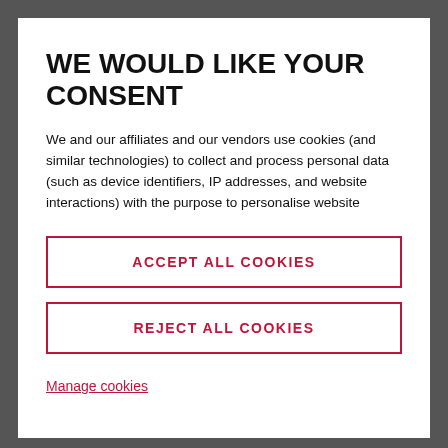WE WOULD LIKE YOUR CONSENT
We and our affiliates and our vendors use cookies (and similar technologies) to collect and process personal data (such as device identifiers, IP addresses, and website interactions) with the purpose to personalise website
ACCEPT ALL COOKIES
REJECT ALL COOKIES
Manage cookies